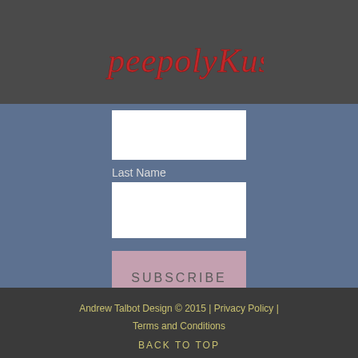[Figure (logo): peepolyKus logo in red cursive/handwritten style text on dark gray background]
Last Name
SUBSCRIBE
Andrew Talbot Design © 2015 | Privacy Policy | Terms and Conditions
BACK TO TOP